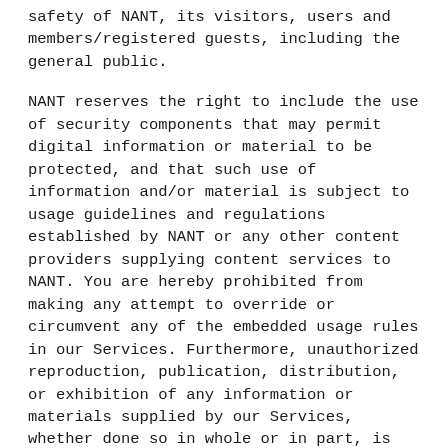safety of NANT, its visitors, users and members/registered guests, including the general public.
NANT reserves the right to include the use of security components that may permit digital information or material to be protected, and that such use of information and/or material is subject to usage guidelines and regulations established by NANT or any other content providers supplying content services to NANT. You are hereby prohibited from making any attempt to override or circumvent any of the embedded usage rules in our Services. Furthermore, unauthorized reproduction, publication, distribution, or exhibition of any information or materials supplied by our Services, whether done so in whole or in part, is expressly prohibited.